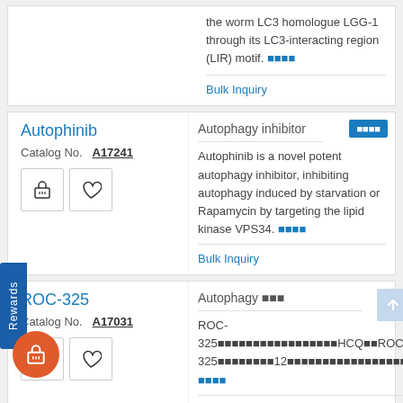the worm LC3 homologue LGG-1 through its LC3-interacting region (LIR) motif. [read more]
Bulk Inquiry
Autophinib
Catalog No.  A17241
Autophagy inhibitor
Autophinib is a novel potent autophagy inhibitor, inhibiting autophagy induced by starvation or Rapamycin by targeting the lipid kinase VPS34. [read more]
Bulk Inquiry
ROC-325
Catalog No.  A17031
Autophagy [inhibitor]
ROC-325[text in Chinese characters]HCQ[text][ROC-325][text]12[text] [read more]
Bulk Inquiry